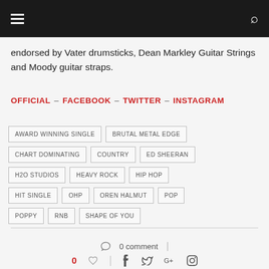[hamburger menu] [search icon]
endorsed by Vater drumsticks, Dean Markley Guitar Strings and Moody guitar straps.
OFFICIAL – FACEBOOK – TWITTER – INSTAGRAM
AWARD WINNING SINGLE
BRUTAL METAL EDGE
CHART DOMINATING
COUNTRY
ED SHEERAN
H2O STUDIOS
HEAVY ROCK
HIP HOP
HIT SINGLE
OHP
OREN HALMUT
POP
POPPY
RNB
SHAPE OF YOU
0 comment
0 [like] [f] [t] [G+] [pinterest]